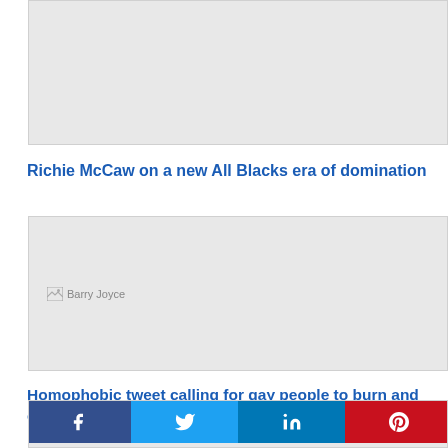[Figure (photo): Gray placeholder image at top of page (partially cropped)]
Richie McCaw on a new All Blacks era of domination
[Figure (photo): Gray placeholder image with broken image icon labeled 'Barry Joyce']
Homophobic tweet calling for gay people to burn and die
[Figure (infographic): Social sharing bar with Facebook, Twitter, LinkedIn, and Pinterest buttons, followed by a partial broken image icon at bottom]